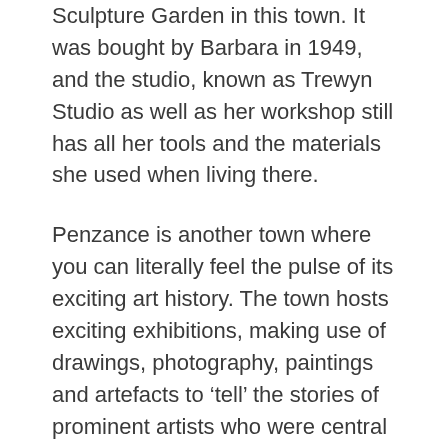Sculpture Garden in this town. It was bought by Barbara in 1949, and the studio, known as Trewyn Studio as well as her workshop still has all her tools and the materials she used when living there.
Penzance is another town where you can literally feel the pulse of its exciting art history. The town hosts exciting exhibitions, making use of drawings, photography, paintings and artefacts to ‘tell’ the stories of prominent artists who were central to the town’s formation. Art lovers will love the Penlee Gallery and Museum, and a walk long the promenade and in the area of the harbour offers lots of fascinating places to enjoy some refreshments. Penzance Promenade was the subject of a famous painting by Newlyn School artist Norman Garstin, known as ‘The Rain it Raineth Every Day’.
Falmouth on the southwest point of the Cornish coast